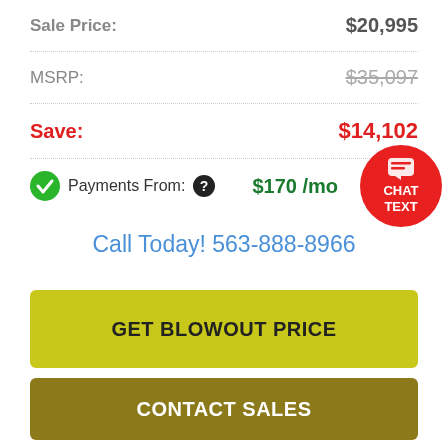Sale Price: $20,995
MSRP: $35,097
Save: $14,102
Payments From: $170 /mo
[Figure (other): Red circular chat/text button with speech bubble icon, labeled CHAT TEXT]
Call Today! 563-888-8966
GET BLOWOUT PRICE
CONTACT SALES